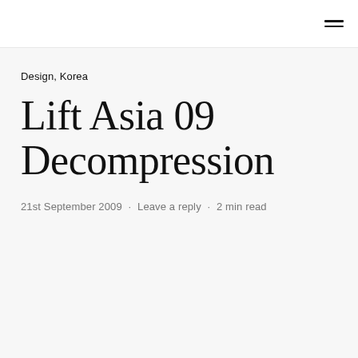☰
Design, Korea
Lift Asia 09 Decompression
21st September 2009 · Leave a reply · 2 min read